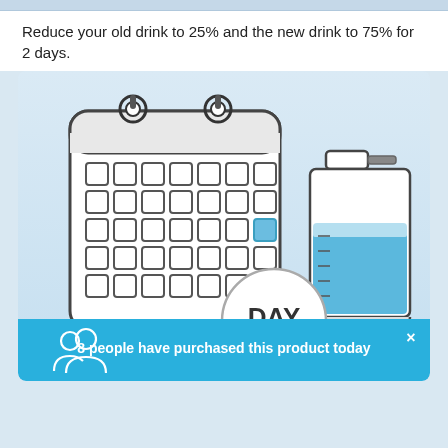Reduce your old drink to 25% and the new drink to 75% for 2 days.
[Figure (illustration): A calendar icon with grid of squares, with one highlighted blue square (day 7), and a measuring cup/beaker filled with blue liquid. A 'DAY 7' circle badge overlaps the calendar bottom-right. A notification bar at the bottom reads '8 people have purchased this product today'.]
8 people have purchased this product today